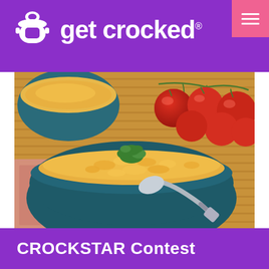[Figure (logo): Get Crocked logo: white crockpot icon and white text 'get crocked®' on purple background with pink hamburger menu button top right]
[Figure (photo): A bowl of creamy macaroni and cheese garnished with parsley, with a spoon inside, accompanied by cherry tomatoes on the vine and another bowl of mac and cheese in the background, on a bamboo mat with a pink napkin]
CROCKSTAR Contest